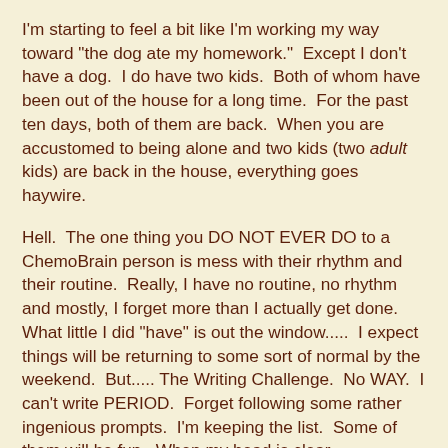I'm starting to feel a bit like I'm working my way toward "the dog ate my homework."  Except I don't have a dog.  I do have two kids.  Both of whom have been out of the house for a long time.  For the past ten days, both of them are back.  When you are accustomed to being alone and two kids (two adult kids) are back in the house, everything goes haywire.
Hell.  The one thing you DO NOT EVER DO to a ChemoBrain person is mess with their rhythm and their routine.  Really, I have no routine, no rhythm and mostly, I forget more than I actually get done.  What little I did "have" is out the window.....  I expect things will be returning to some sort of normal by the weekend.  But..... The Writing Challenge.  No WAY.  I can't write PERIOD.  Forget following some rather ingenious prompts.  I'm keeping the list.  Some of them will be fun.  When my head is clear.
Did you miss me yesterday?  Why was there no blog??  I was out a tad later than expected on Tuesday evening.  I left the "kids" and went to meet someone for dinner.  I left at 4PM expecting to be home no later than 9 or 10.  My driving privileges have been suspended by my son who informed